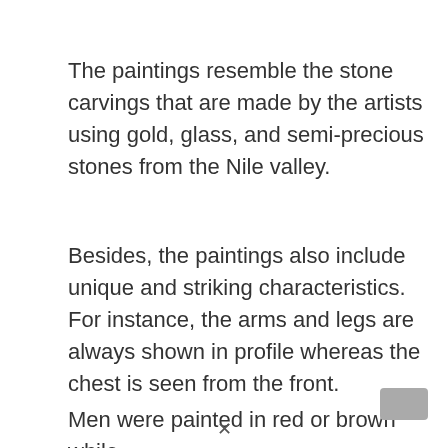The paintings resemble the stone carvings that are made by the artists using gold, glass, and semi-precious stones from the Nile valley.
Besides, the paintings also include unique and striking characteristics. For instance, the arms and legs are always shown in profile whereas the chest is seen from the front.
Men were painted in red or brown while